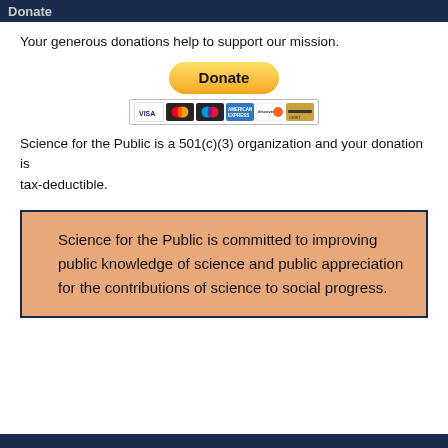Donate
Your generous donations help to support our mission.
[Figure (other): PayPal Donate button with payment card icons (VISA, Mastercard, Maestro, American Express, Discover, and another card)]
Science for the Public is a 501(c)(3) organization and your donation is tax-deductible.
Science for the Public is committed to improving public knowledge of science and public appreciation for the contributions of science to social progress.